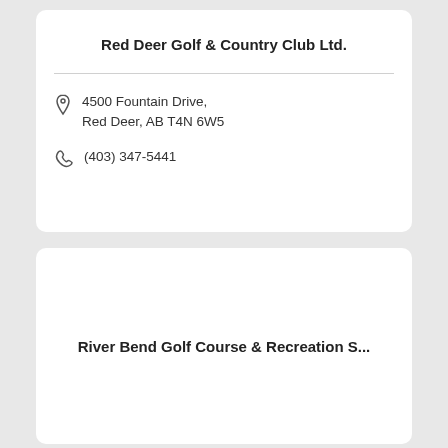Red Deer Golf & Country Club Ltd.
4500 Fountain Drive, Red Deer, AB T4N 6W5
(403) 347-5441
River Bend Golf Course & Recreation S...